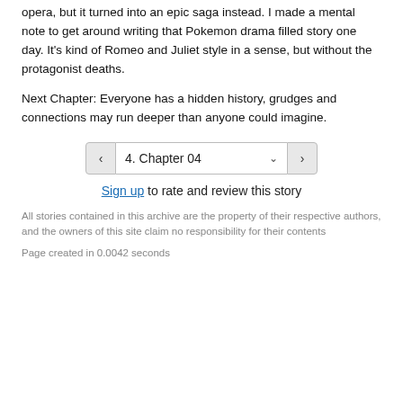opera, but it turned into an epic saga instead. I made a mental note to get around writing that Pokemon drama filled story one day. It's kind of Romeo and Juliet style in a sense, but without the protagonist deaths.
Next Chapter: Everyone has a hidden history, grudges and connections may run deeper than anyone could imagine.
4. Chapter 04 (navigation dropdown with prev/next buttons)
Sign up to rate and review this story
All stories contained in this archive are the property of their respective authors, and the owners of this site claim no responsibility for their contents
Page created in 0.0042 seconds